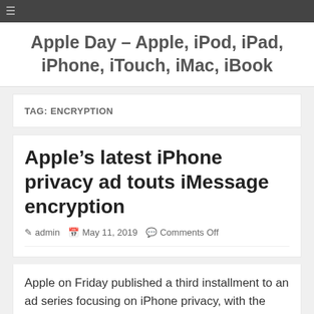Apple Day – Apple, iPod, iPad, iPhone, iTouch, iMac, iBook
TAG: ENCRYPTION
Apple's latest iPhone privacy ad touts iMessage encryption
admin  May 11, 2019  Comments Off
Apple on Friday published a third installment to an ad series focusing on iPhone privacy, with the latest commercial throwing a spotlight on the company's end-